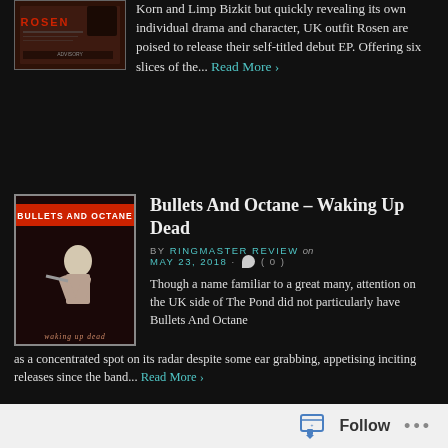[Figure (photo): Album cover for Rosen self-titled EP, dark reddish tones with band name]
Korn and Limp Bizkit but quickly revealing its own individual drama and character, UK outfit Rosen are poised to release their self-titled debut EP. Offering six slices of the... Read More ›
Bullets And Octane – Waking Up Dead
BY RINGMASTER REVIEW on MAY 23, 2018 · ( 0 )
[Figure (photo): Album cover for Bullets And Octane – Waking Up Dead, showing a skeletal figure on a motorcycle with band name in red lettering]
Though a name familiar to a great many, attention on the UK side of The Pond did not particularly have Bullets And Octane as a concentrated spot on its radar despite some ear grabbing, appetising inciting releases since the band... Read More ›
Whirling hearts and joyous uprisings: exploring the world of Swirl
[Figure (photo): Dark thumbnail image for Swirl article]
Follow ···